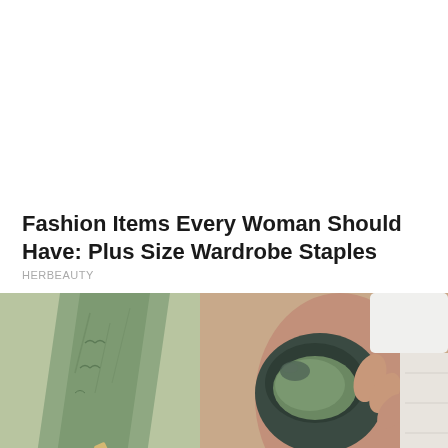Fashion Items Every Woman Should Have: Plus Size Wardrobe Staples
HERBEAUTY
[Figure (photo): Close-up photo of a person applying green clay mask to their leg using a spatula, holding a dark stone/container with green clay in the other hand. Beauty/skincare treatment scene.]